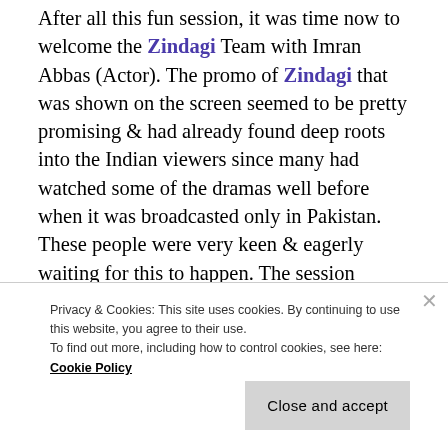After all this fun session, it was time now to welcome the Zindagi Team with Imran Abbas (Actor). The promo of Zindagi that was shown on the screen seemed to be pretty promising & had already found deep roots into the Indian viewers since many had watched some of the dramas well before when it was broadcasted only in Pakistan. These people were very keen & eagerly waiting for this to happen. The session continued with the Q & A with Imran Abbas. Sultana Aapa (Director/Producer) also joined us straight away from Pakistan sharing her views about this concept & initiative. People were pleased to have this
Privacy & Cookies: This site uses cookies. By continuing to use this website, you agree to their use.
To find out more, including how to control cookies, see here: Cookie Policy